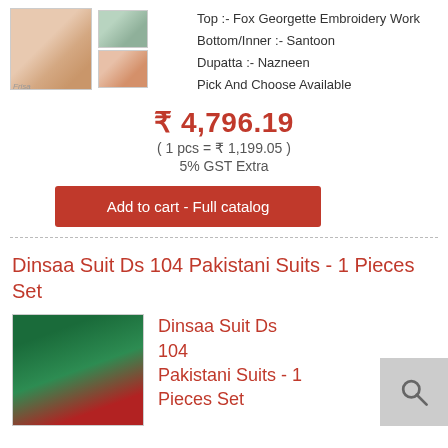[Figure (photo): Product images of Pakistani suit - main large image and two small thumbnail images]
Top :- Fox Georgette Embroidery Work
Bottom/Inner :- Santoon
Dupatta :- Nazneen
Pick And Choose Available
₹ 4,796.19
( 1 pcs = ₹ 1,199.05 )
5% GST Extra
Add to cart - Full catalog
Dinsaa Suit Ds 104 Pakistani Suits - 1 Pieces Set
[Figure (photo): Product image of Dinsaa Suit Ds 104 Pakistani Suits on dark green fabric]
Dinsaa Suit Ds 104 Pakistani Suits - 1 Pieces Set